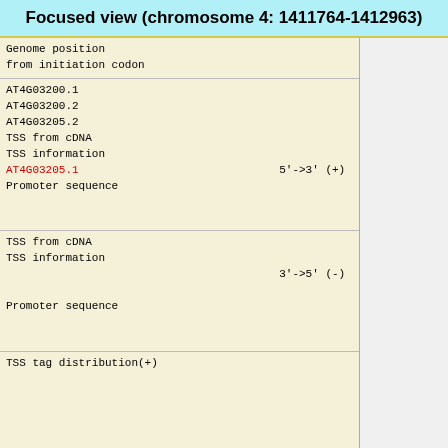Focused view (chromosome 4: 1411764-1412963)
Genome position
from initiation codon
AT4G03200.1
AT4G03200.2
AT4G03205.2
TSS from cDNA
TSS information
AT4G03205.1    5'->3' (+)
Promoter sequence
TSS from cDNA
TSS information
                    3'->5' (-)
Promoter sequence
TSS tag distribution(+)
TSS tag distribution(-)